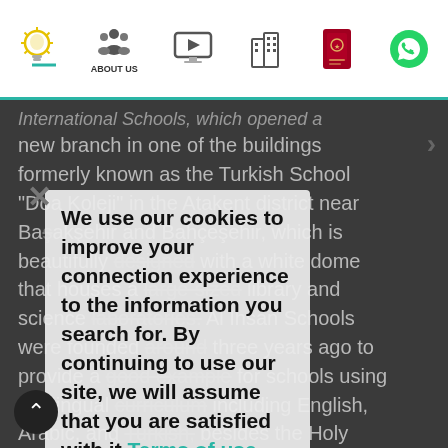Navigation bar with icons: lightbulb (active), About Us, video/monitor, building, passport, WhatsApp
International Schools, which opened a new branch in one of the buildings formerly known as the Turkish School "Doa Koleji" in the Atakent district near Başakşehir and Bahçeşehir, which is beautifully designed with a white dome that houses a large-sized library and science laboratories. Al Ihsan Schools were founded around three years ago to provide a good example for schools using a trilingual curriculum including English, Arabic, and Turkish, besides the Holy Qur'an and Islamic education instruction.
We use our cookies to improve your connection experience to the information you search for. By continuing to use our site, we will assume that you are satisfied with it Terms of use .